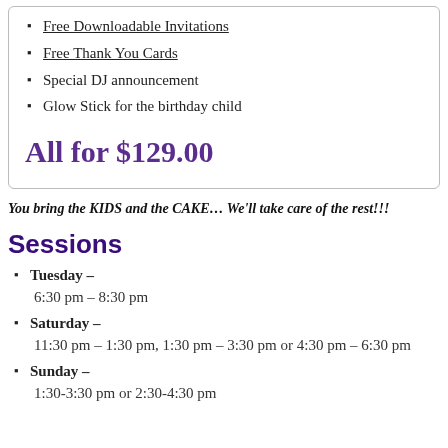Free Downloadable Invitations
Free Thank You Cards
Special DJ announcement
Glow Stick for the birthday child
All for $129.00
You bring the KIDS and the CAKE… We'll take care of the rest!!!
Sessions
Tuesday –
6:30 pm – 8:30 pm
Saturday –
11:30 pm – 1:30 pm, 1:30 pm – 3:30 pm or 4:30 pm – 6:30 pm
Sunday –
1:30-3:30 pm or 2:30-4:30 pm